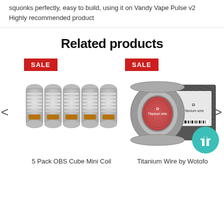squonks perfectly, easy to build, using it on Vandy Vape Pulse v2
Highly recommended product
Related products
[Figure (photo): 5 Pack OBS Cube Mini Coil product photo with SALE badge]
[Figure (photo): Titanium Wire by Wotofo product photo with SALE badge and gift icon]
5 Pack OBS Cube Mini Coil
Titanium Wire by Wotofo